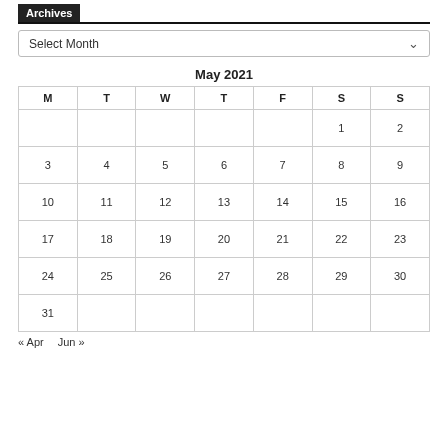Archives
Select Month
May 2021
| M | T | W | T | F | S | S |
| --- | --- | --- | --- | --- | --- | --- |
|  |  |  |  |  | 1 | 2 |
| 3 | 4 | 5 | 6 | 7 | 8 | 9 |
| 10 | 11 | 12 | 13 | 14 | 15 | 16 |
| 17 | 18 | 19 | 20 | 21 | 22 | 23 |
| 24 | 25 | 26 | 27 | 28 | 29 | 30 |
| 31 |  |  |  |  |  |  |
« Apr   Jun »